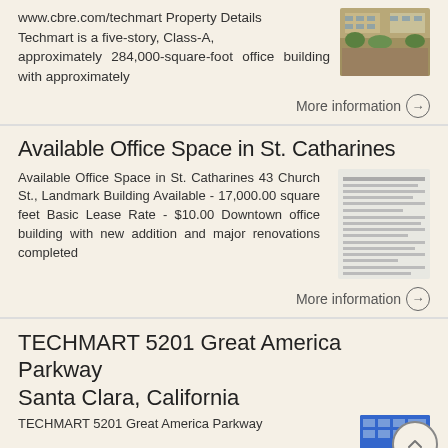www.cbre.com/techmart Property Details Techmart is a five-story, Class-A, approximately 284,000-square-foot office building with approximately
[Figure (photo): Exterior photo of a multi-story office building with trees]
More information →
Available Office Space in St. Catharines
Available Office Space in St. Catharines 43 Church St., Landmark Building Available - 17,000.00 square feet Basic Lease Rate - $10.00 Downtown office building with new addition and major renovations completed
[Figure (screenshot): Document or listing image showing text lines]
More information →
TECHMART 5201 Great America Parkway Santa Clara, California
TECHMART 5201 Great America Parkway
[Figure (photo): Techmart building exterior photo with logo]